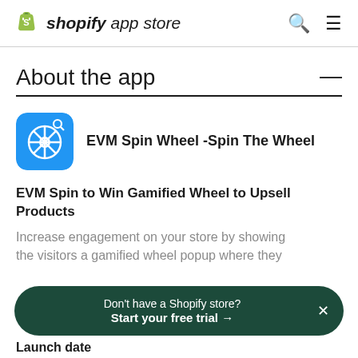shopify app store
About the app
[Figure (logo): EVM Spin Wheel app icon — blue rounded square with a white spin wheel graphic]
EVM Spin Wheel -Spin The Wheel
EVM Spin to Win Gamified Wheel to Upsell Products
Increase engagement on your store by showing the visitors a gamified wheel popup where they
Don't have a Shopify store? Start your free trial →
Launch date